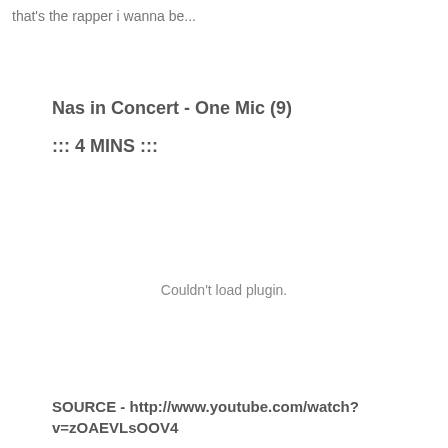that's the rapper i wanna be...
Nas in Concert - One Mic (9)
::: 4 MINS :::
Couldn't load plugin.
SOURCE - http://www.youtube.com/watch?v=zOAEVLsOOV4